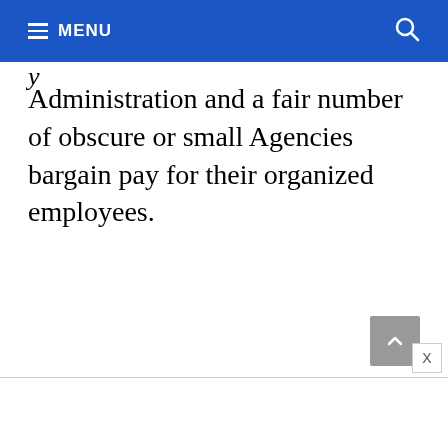MENU
Administration and a fair number of obscure or small Agencies bargain pay for their organized employees.